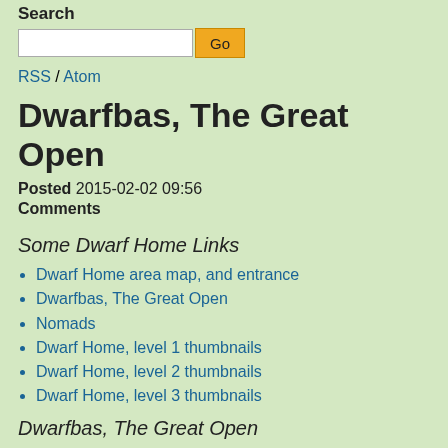Search
Go
RSS / Atom
Dwarfbas, The Great Open
Posted 2015-02-02 09:56
Comments
Some Dwarf Home Links
Dwarf Home area map, and entrance
Dwarfbas, The Great Open
Nomads
Dwarf Home, level 1 thumbnails
Dwarf Home, level 2 thumbnails
Dwarf Home, level 3 thumbnails
Dwarfbas, The Great Open